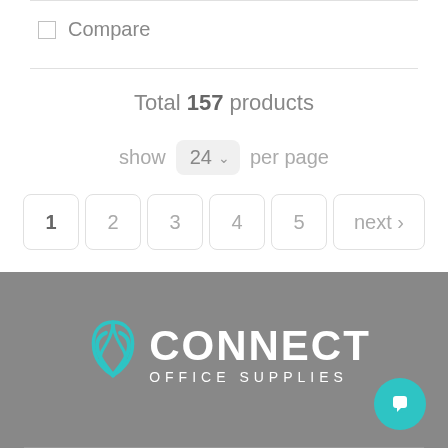Compare
Total 157 products
show 24 per page
1 2 3 4 5 next >
[Figure (logo): Connect Office Supplies logo with teal paperclip icon and white text on grey background]